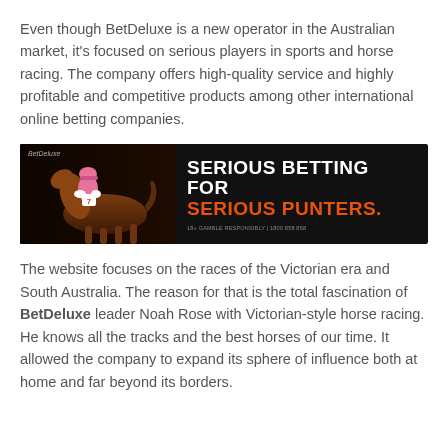Even though BetDeluxe is a new operator in the Australian market, it's focused on serious players in sports and horse racing. The company offers high-quality service and highly profitable and competitive products among other international online betting companies.
[Figure (other): BetDeluxe advertisement banner with a jockey on a horse on the left against a dark background, and bold white and orange text reading 'SERIOUS BETTING FOR SERIOUS PUNTERS.' on the right, with small disclaimer text at the bottom.]
The website focuses on the races of the Victorian era and South Australia. The reason for that is the total fascination of BetDeluxe leader Noah Rose with Victorian-style horse racing. He knows all the tracks and the best horses of our time. It allowed the company to expand its sphere of influence both at home and far beyond its borders.